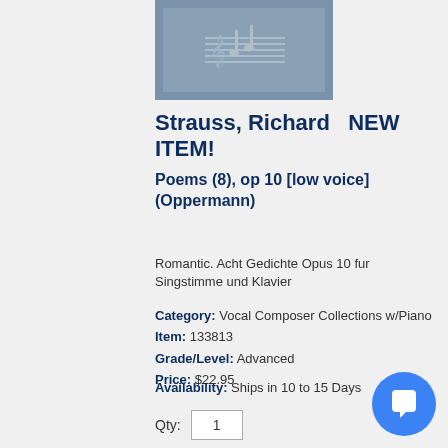[Figure (illustration): Book cover image with blue/gray background, showing a musical score fragment]
Strauss, Richard  NEW ITEM!
Poems (8), op 10 [low voice] (Oppermann)
Romantic. Acht Gedichte Opus 10 fur Singstimme und Klavier
Category: Vocal Composer Collections w/Piano
Item: 133813
Grade/Level: Advanced
Price: $22.95
Availability: Ships in 10 to 15 Days
Qty: 1